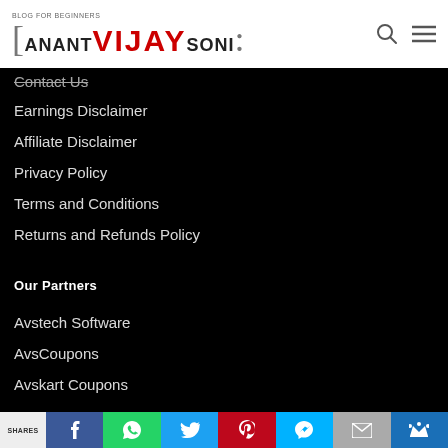Anant VIJAY Soni — Blog for Beginners
Contact Us
Earnings Disclaimer
Affiliate Disclaimer
Privacy Policy
Terms and Conditions
Returns and Refunds Policy
Our Partners
Avstech Software
AvsCoupons
Avskart Coupons
Shares | Facebook | WhatsApp | Twitter | Pinterest | Messenger | Email | Crown